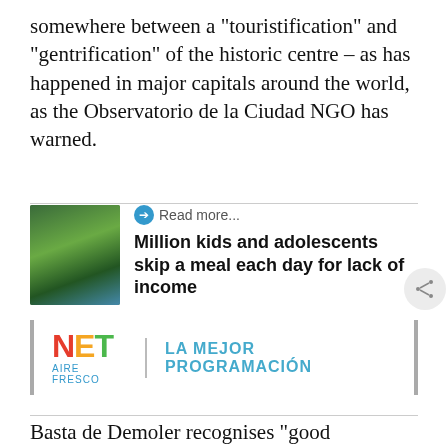somewhere between a "touristification" and "gentrification" of the historic centre – as has happened in major capitals around the world, as the Observatorio de la Ciudad NGO has warned.
[Figure (photo): Photo of children or people at what appears to be a community or market setting with green foliage in the background]
Read more...
Million kids and adolescents skip a meal each day for lack of income
[Figure (logo): NET AIRE FRESCO logo with tagline LA MEJOR PROGRAMACIÓN]
Basta de Demoler recognises "good intentions" in